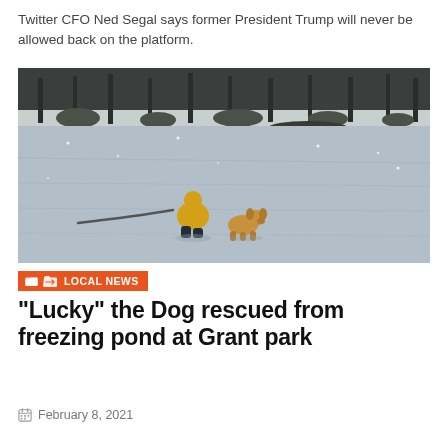Twitter CFO Ned Segal says former President Trump will never be allowed back on the platform.
[Figure (photo): A rescue worker in a yellow jacket kneeling on a frozen pond, with a rope, reaching toward a golden/brown dog on the ice. Snowy trees visible in the background.]
LOCAL NEWS
“Lucky” the Dog rescued from freezing pond at Grant park
February 8, 2021